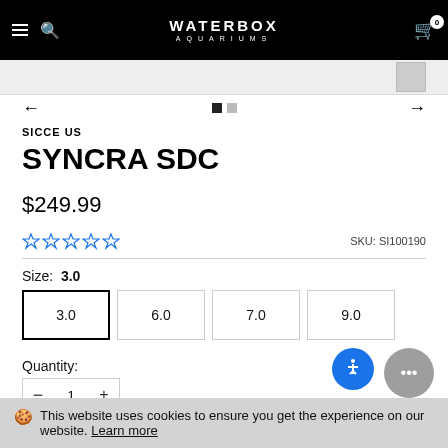WATERBOX AQUARIUMS
SICCE US
SYNCRA SDC
$249.99
SKU: SI100190
Size: 3.0
3.0
6.0
7.0
9.0
Quantity:
This website uses cookies to ensure you get the experience on our website. Learn more